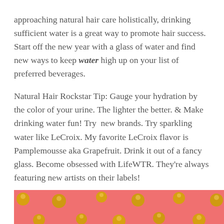approaching natural hair care holistically, drinking sufficient water is a great way to promote hair success. Start off the new year with a glass of water and find new ways to keep water high up on your list of preferred beverages.
Natural Hair Rockstar Tip: Gauge your hydration by the color of your urine. The lighter the better. & Make drinking water fun! Try  new brands. Try sparkling water like LeCroix. My favorite LeCroix flavor is Pamplemousse aka Grapefruit. Drink it out of a fancy glass. Become obsessed with LifeWTR. They're always featuring new artists on their labels!
[Figure (photo): Pink background with gold polka dots pattern, partially visible at the bottom of the page.]